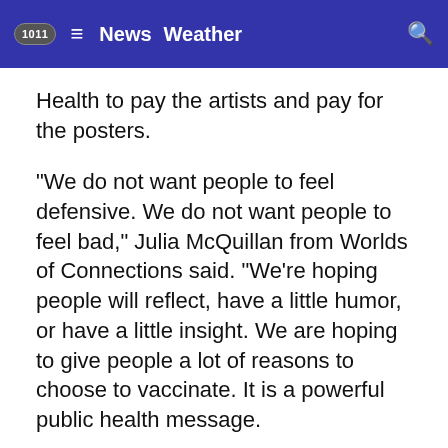1011 ≡ News Weather 🔍
Health to pay the artists and pay for the posters.
“We do not want people to feel defensive. We do not want people to feel bad,” Julia McQuillan from Worlds of Connections said. “We’re hoping people will reflect, have a little humor, or have a little insight. We are hoping to give people a lot of reasons to choose to vaccinate. It is a powerful public health message.
[Figure (other): Advertisement banner for Shamrock Livestock Market showing a cow logo on the left and 'SEE UPCOMING SALES' text on a green-grey background on the right.]
Also, it is a message they want to spread.
They are hoping to put the posters in other locations